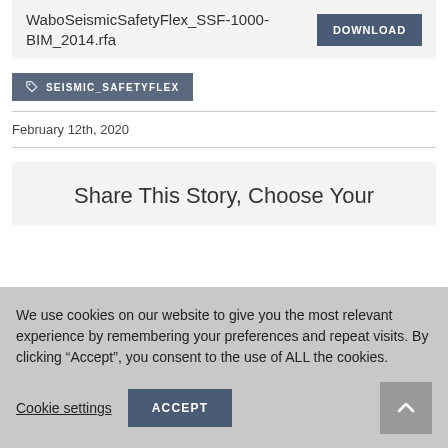WaboSeismicSafetyFlex_SSF-1000-BIM_2014.rfa
DOWNLOAD
SEISMIC_SAFETYFLEX
February 12th, 2020
Share This Story, Choose Your
We use cookies on our website to give you the most relevant experience by remembering your preferences and repeat visits. By clicking “Accept”, you consent to the use of ALL the cookies.
Cookie settings
ACCEPT